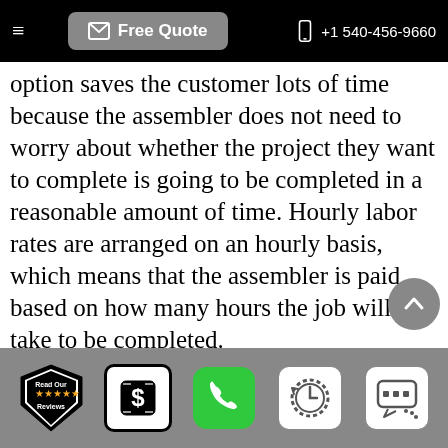Free Quote  +1 540-456-9660
option saves the customer lots of time because the assembler does not need to worry about whether the project they want to complete is going to be completed in a reasonable amount of time. Hourly labor rates are arranged on an hourly basis, which means that the assembler is paid based on how many hours the job will take to be completed.
Affordable Nearby Furniture Assembly 24176
If you are thinking about hiring some help to assemble or disassemble furniture pieces,